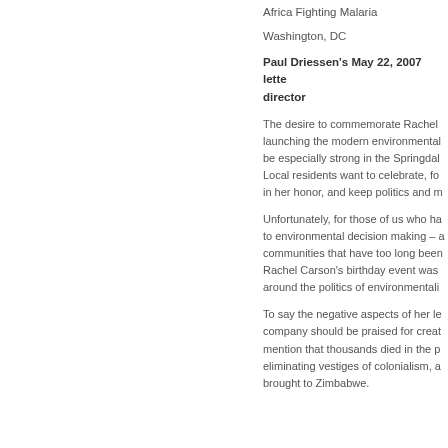Africa Fighting Malaria
Washington, DC
Paul Driessen's May 22, 2007 letter to the director
The desire to commemorate Rachel launching the modern environmental be especially strong in the Springdal Local residents want to celebrate, fo in her honor, and keep politics and m
Unfortunately, for those of us who ha to environmental decision making – a communities that have too long been Rachel Carson's birthday event was around the politics of environmentali
To say the negative aspects of her le company should be praised for creat mention that thousands died in the p eliminating vestiges of colonialism, a brought to Zimbabwe.